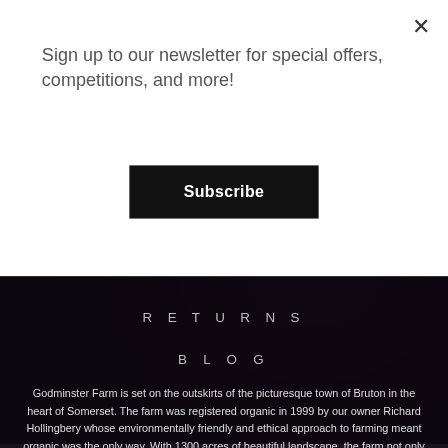Sign up to our newsletter for special offers, competitions, and more!
Subscribe
RETURNS
BLOG
Godminster Farm is set on the outskirts of the picturesque town of Bruton in the heart of Somerset. The farm was registered organic in 1999 by our owner Richard Hollingbery whose environmentally friendly and ethical approach to farming meant organic was the only way. With 1300 acres of beautiful landscape, the farm not only homes 280 organic dairy cows but also boasts fruitful orchards filled with a variety of delicious fruits and herbs which are used as inspiration for many of the Godminster products.
Godminster, Station Road, Bruton, Somerset BA10 0EH UK Tel: +44 (0)1749 813 733
Godminster © All Rights Reserved - Vintage Enterprises Ltd